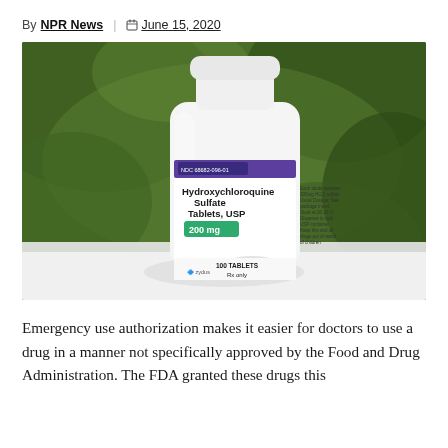By NPR News | June 15, 2020
[Figure (photo): A white pill bottle labeled 'Hydroxychloroquine Sulfate Tablets, USP 200 mg' by Zydus, NDC number visible, showing 100 TABLETS Rx only, photographed against a blurred green background with a tablet visible in front of the bottle.]
Emergency use authorization makes it easier for doctors to use a drug in a manner not specifically approved by the Food and Drug Administration. The FDA granted these drugs this